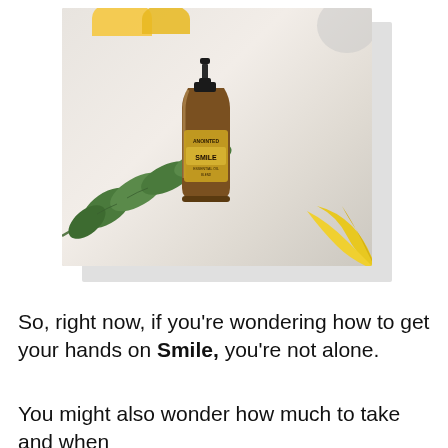[Figure (photo): Product photo of Anointed Smile serum bottle (amber glass with black pump) lying on a white marble surface surrounded by eucalyptus leaves, lemon slices, and yellow flowers]
So, right now, if you're wondering how to get your hands on Smile, you're not alone.
You might also wonder how much to take and when